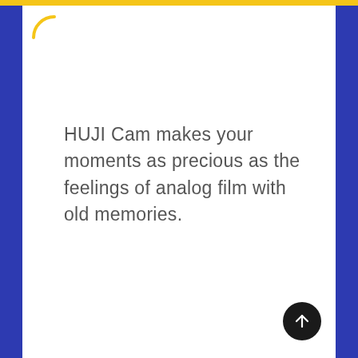[Figure (illustration): Yellow arc/parenthesis decorative element in top-left corner of white content area]
HUJI Cam makes your moments as precious as the feelings of analog film with old memories.
[Figure (illustration): Dark circular button with upward arrow (scroll to top button) in bottom-right corner]